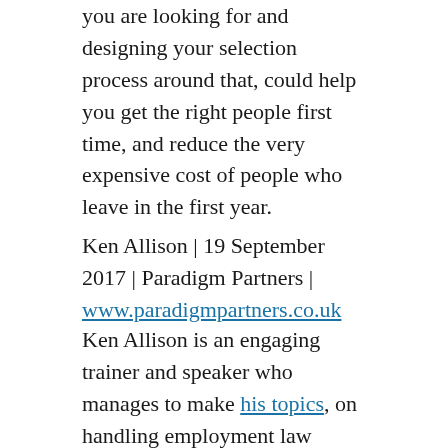you are looking for and designing your selection process around that, could help you get the right people first time, and reduce the very expensive cost of people who leave in the first year.
Ken Allison | 19 September 2017 | Paradigm Partners | www.paradigmpartners.co.uk
Ken Allison is an engaging trainer and speaker who manages to make his topics, on handling employment law related people issues and other HR stuff, highly interactive, challenging, entertaining, and above all, relevant to the 21st